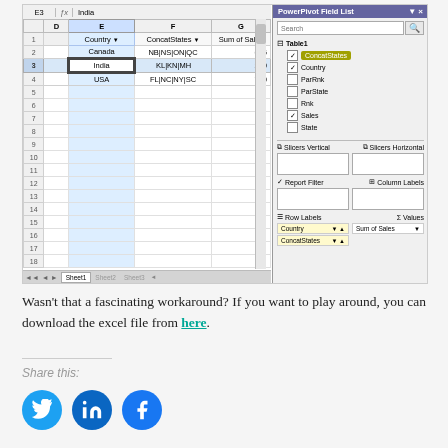[Figure (screenshot): Screenshot of Microsoft Excel spreadsheet with PowerPivot Field List panel. Spreadsheet shows columns Country, ConcatStates, Sum of Sales with data for Canada (NB|NS|ON|QC, 665), India (KL|KN|MH, 260), USA (FL|NC|NY|SC, 700). Row 3 (India) is selected/highlighted. PowerPivot panel on right shows Table1 with fields ConcatStates (checked, highlighted), Country (checked), ParRnk, ParState, Rnk, Sales (checked), State. Below are drag areas: Slicers Vertical, Slicers Horizontal, Report Filter, Column Labels, Row Labels (Country, ConcatStates), Values (Sum of Sales).]
Wasn't that a fascinating workaround? If you want to play around, you can download the excel file from here.
Share this: